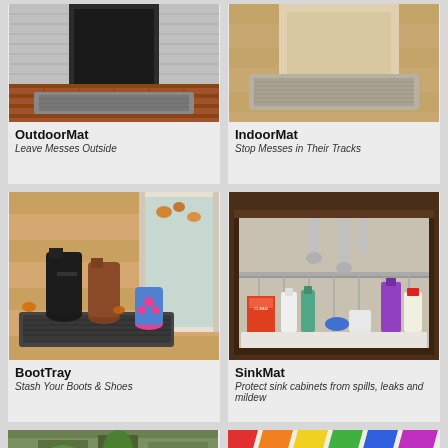[Figure (photo): OutdoorMat product photo showing a gray textured mat in front of a door on brick patio]
OutdoorMat
Leave Messes Outside
[Figure (photo): IndoorMat product photo showing a beige textured mat in front of a door on wood floor]
IndoorMat
Stop Messes in Their Tracks
[Figure (photo): BootTray product photo showing boots and shoes on a dark tray near a sliding door]
BootTray
Stash Your Boots & Shoes
[Figure (photo): SinkMat product photo showing under-sink cabinet with cleaning products on a white mat]
SinkMat
Protect sink cabinets from spills, leaks and mildew
[Figure (photo): Partially visible product card at bottom left]
[Figure (photo): Partially visible product card at bottom right with colorful items]